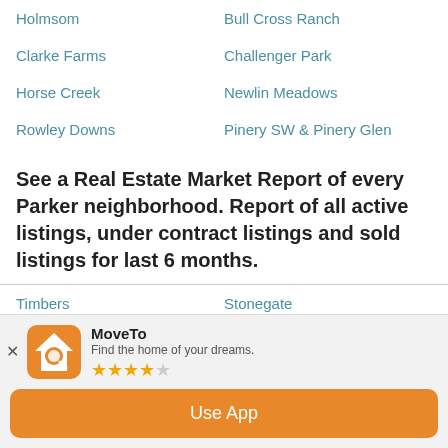Holmsom
Bull Cross Ranch
Clarke Farms
Challenger Park
Horse Creek
Newlin Meadows
Rowley Downs
Pinery SW & Pinery Glen
See a Real Estate Market Report of every Parker neighborhood. Report of all active listings, under contract listings and sold listings for last 6 months.
Timbers
Stonegate
Pradera
Idyllwilde
Pinery
Canterberry Crossing
[Figure (screenshot): MoveTo app promotional banner with orange house/magnifier icon, app name 'MoveTo', tagline 'Find the home of your dreams.', 3.5-star rating, and orange 'Use App' button]